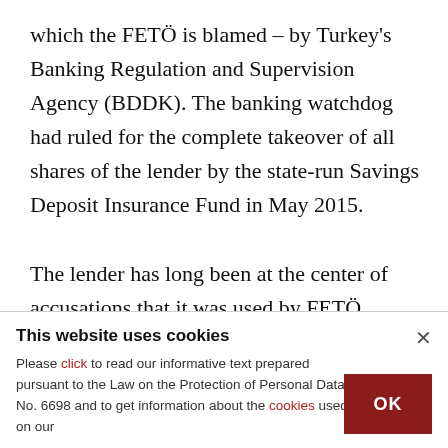which the FETÖ is blamed – by Turkey's Banking Regulation and Supervision Agency (BDDK). The banking watchdog had ruled for the complete takeover of all shares of the lender by the state-run Savings Deposit Insurance Fund in May 2015.

The lender has long been at the center of accusations that it was used by FETÖ members for money laundering. A large number of suspects in FETÖ investigations have accounts in the bank and
This website uses cookies
Please click to read our informative text prepared pursuant to the Law on the Protection of Personal Data No. 6698 and to get information about the cookies used on our